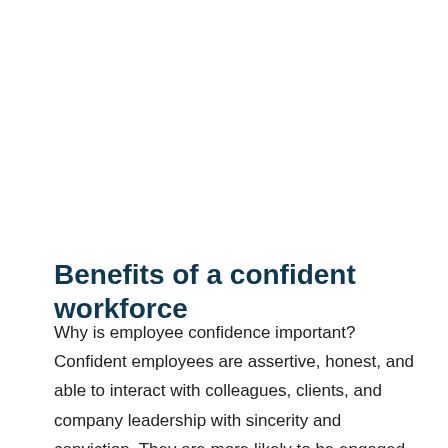Benefits of a confident workforce
Why is employee confidence important? Confident employees are assertive, honest, and able to interact with colleagues, clients, and company leadership with sincerity and conviction. They are more likely to be engaged than intimidated by the challenges their work presents, and they're willing to step outside